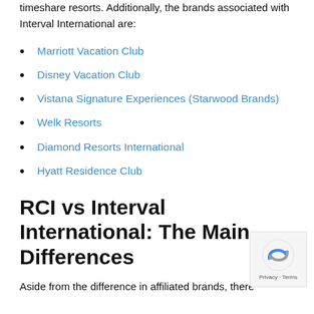timeshare resorts. Additionally, the brands associated with Interval International are:
Marriott Vacation Club
Disney Vacation Club
Vistana Signature Experiences (Starwood Brands)
Welk Resorts
Diamond Resorts International
Hyatt Residence Club
RCI vs Interval International: The Main Differences
Aside from the difference in affiliated brands, there